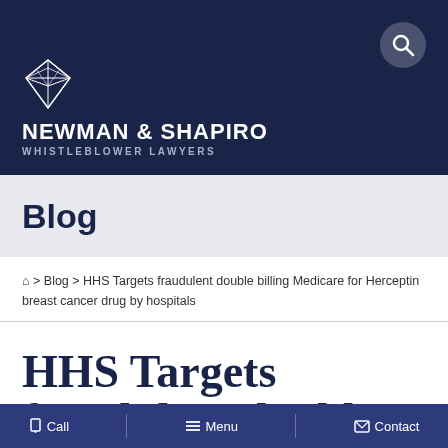NEWMAN & SHAPIRO WHISTLEBLOWER LAWYERS
Blog
🏠 > Blog > HHS Targets fraudulent double billing Medicare for Herceptin breast cancer drug by hospitals
HHS Targets fraudulent double billing Medicare for Herceptin
Call  Menu  Contact